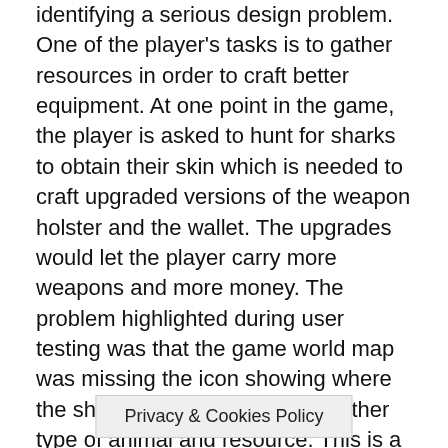identifying a serious design problem. One of the player's tasks is to gather resources in order to craft better equipment. At one point in the game, the player is asked to hunt for sharks to obtain their skin which is needed to craft upgraded versions of the weapon holster and the wallet. The upgrades would let the player carry more weapons and more money. The problem highlighted during user testing was that the game world map was missing the icon showing where the sharks were – unlike every other type of animal and resource. This is a straightforward example of the help user testing can provide to the QA department.
Another design intent was about weaponry: in order to have the best gaming experience possible, players were supposed to try several different we as better li th
Privacy & Cookies Policy